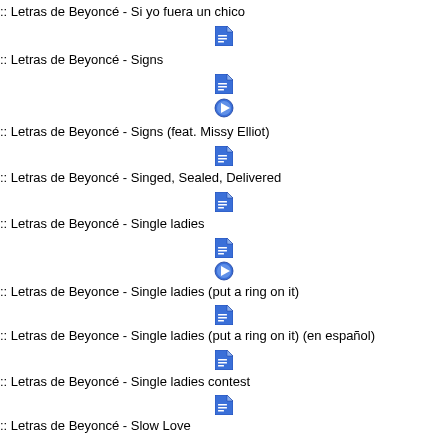:: Letras de Beyoncé - Si yo fuera un chico
[Figure (illustration): Blue document/note icon]
:: Letras de Beyoncé - Signs
[Figure (illustration): Blue document/note icon]
[Figure (illustration): Blue play button icon]
:: Letras de Beyoncé - Signs (feat. Missy Elliot)
[Figure (illustration): Blue document/note icon]
:: Letras de Beyoncé - Singed, Sealed, Delivered
[Figure (illustration): Blue document/note icon]
:: Letras de Beyoncé - Single ladies
[Figure (illustration): Blue document/note icon]
[Figure (illustration): Blue play button icon]
:: Letras de Beyonce - Single ladies (put a ring on it)
[Figure (illustration): Blue document/note icon]
:: Letras de Beyonce - Single ladies (put a ring on it) (en español)
[Figure (illustration): Blue document/note icon]
:: Letras de Beyoncé - Single ladies contest
[Figure (illustration): Blue document/note icon]
:: Letras de Beyoncé - Slow Love
[Figure (illustration): Blue document/note icon]
[Figure (illustration): Blue play button icon]
:: Letras de Beyoncé - Smash into you